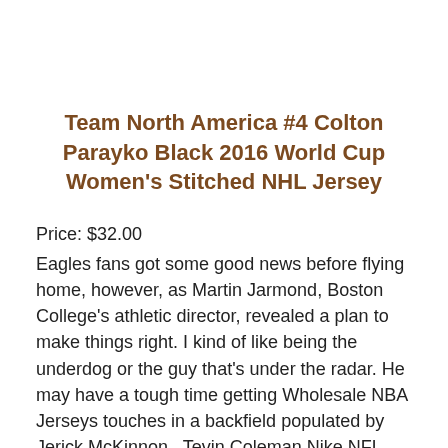Team North America #4 Colton Parayko Black 2016 World Cup Women's Stitched NHL Jersey
Price: $32.00
Eagles fans got some good news before flying home, however, as Martin Jarmond, Boston College's athletic director, revealed a plan to make things right. I kind of like being the underdog or the guy that's under the radar. He may have a tough time getting Wholesale NBA Jerseys touches in a backfield populated by Jerick McKinnon , Tevin Coleman Nike NFL Jerseys China and Matt Breida in the fall, but Mostert's special-teams prowess will help him be active on game days. 2009: Joined the Ravens'